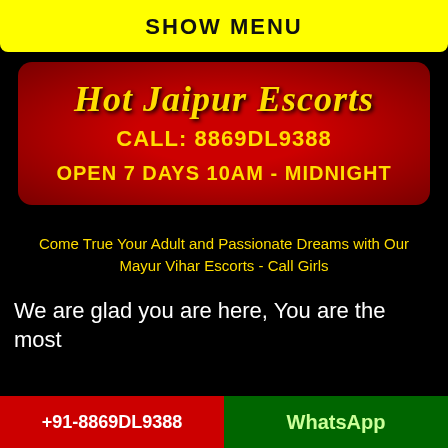SHOW MENU
Hot Jaipur Escorts
CALL: 8869DL9388
OPEN 7 DAYS 10AM - MIDNIGHT
Come True Your Adult and Passionate Dreams with Our Mayur Vihar Escorts - Call Girls
We are glad you are here, You are the most
+91-8869DL9388    WhatsApp